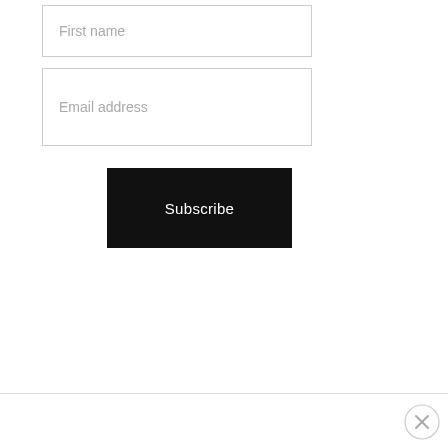First name
Email address
Subscribe
[Figure (other): Close button (X circle) in bottom right corner]